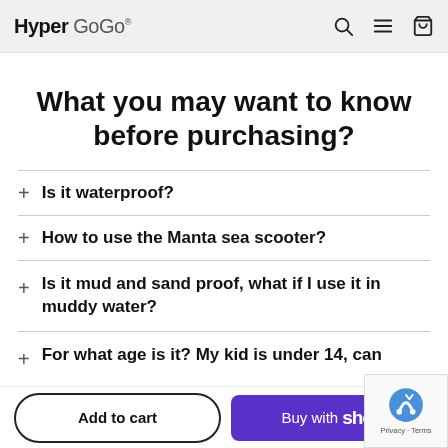Hyper GoGo®
What you may want to know before purchasing?
Is it waterproof?
How to use the Manta sea scooter?
Is it mud and sand proof, what if I use it in muddy water?
For what age is it? My kid is under 14, can
Add to cart | Buy with Shop Pay